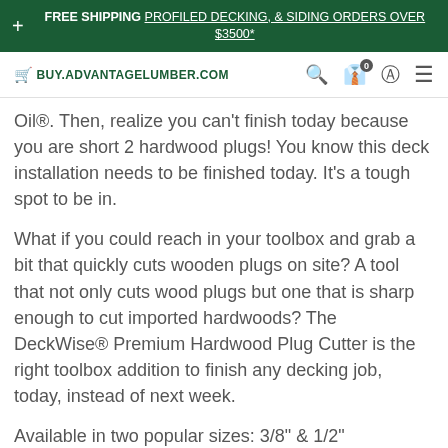FREE SHIPPING PROFILED DECKING, & SIDING ORDERS OVER $3500*
BUY.ADVANTAGELUMBER.COM
Oil®. Then, realize you can't finish today because you are short 2 hardwood plugs! You know this deck installation needs to be finished today. It's a tough spot to be in.
What if you could reach in your toolbox and grab a bit that quickly cuts wooden plugs on site? A tool that not only cuts wood plugs but one that is sharp enough to cut imported hardwoods? The DeckWise® Premium Hardwood Plug Cutter is the right toolbox addition to finish any decking job, today, instead of next week.
Available in two popular sizes: 3/8" & 1/2"